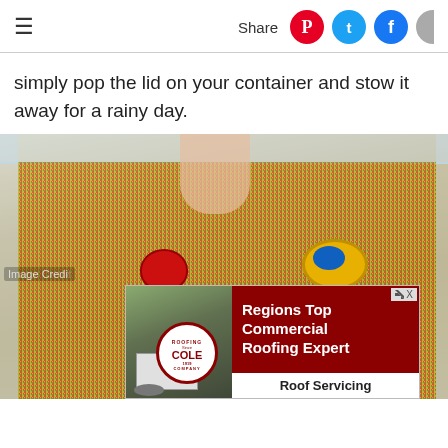Share
simply pop the lid on your container and stow it away for a rainy day.
[Figure (photo): A child's hands playing in a large clear plastic storage bin filled with colorful small beads or rice, with red and yellow/blue toy scoops inside the bin, placed on a white surface.]
Image Credit
[Figure (infographic): Advertisement for Cole Roofing Company. Shows building photo on left with Cole Roofing Company circular logo (Since 1919). Text on dark red background reads: Regions Top Commercial Roofing Expert. Bottom bar reads: Roof Servicing]